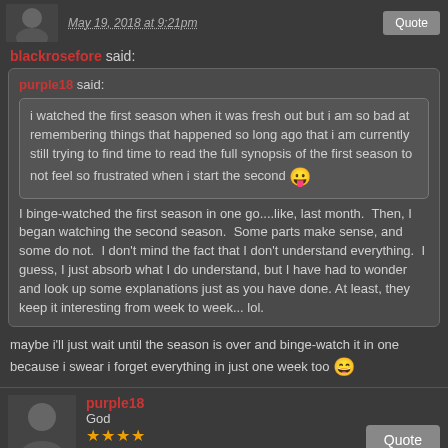May 19, 2018 at 9:21pm
blackrosefore said:
purple18 said:
i watched the first season when it was fresh out but i am so bad at remembering things that happened so long ago that i am currently still trying to find time to read the full synopsis of the first season to not feel so frustrated when i start the second 😛
I binge-watched the first season in one go....like, last month. Then, I began watching the second season. Some parts make sense, and some do not. I don't mind the fact that I don't understand everything. I guess, I just absorb what I do understand, but I have had to wonder and look up some explanations just as you have done. At least, they keep it interesting from week to week... lol.
maybe i'll just wait until the season is over and binge-watch it in one because i swear i forget everything in just one week too 😄
purple18
God
★★★★
May 19, 2018 at 9:22pm